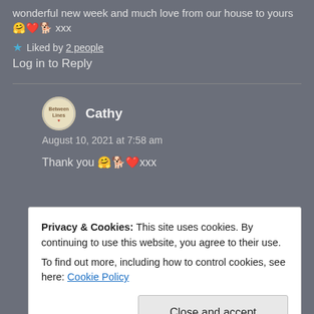wonderful new week and much love from our house to yours 🤗❣️🐕 xxx
⭐ Liked by 2 people
Log in to Reply
Cathy
August 10, 2021 at 7:58 am
Thank you 🤗🐕❣️xxx
Privacy & Cookies: This site uses cookies. By continuing to use this website, you agree to their use.
To find out more, including how to control cookies, see here: Cookie Policy
Close and accept
August 9, 2021 at 9:57 pm